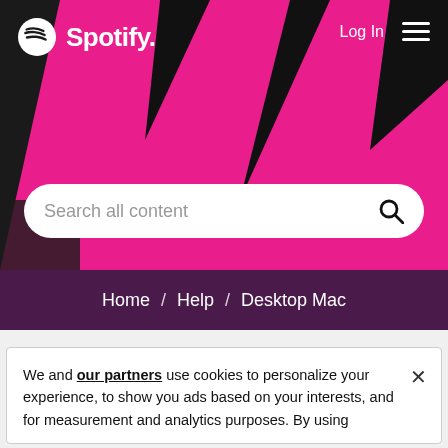[Figure (screenshot): Spotify website header with pink and black angular graphic design, Spotify logo top left, Log In and hamburger menu top right, search bar with placeholder 'Search all content']
Home / Help / Desktop Mac
Topics with Label: save limit
We and our partners use cookies to personalize your experience, to show you ads based on your interests, and for measurement and analytics purposes. By using